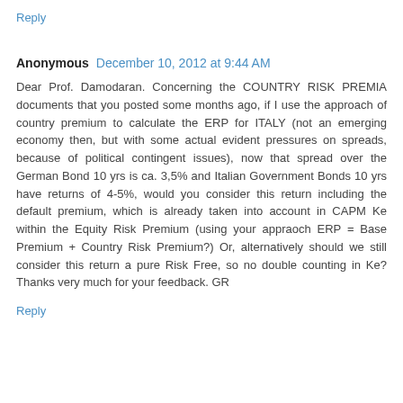Reply
Anonymous  December 10, 2012 at 9:44 AM
Dear Prof. Damodaran. Concerning the COUNTRY RISK PREMIA documents that you posted some months ago, if I use the approach of country premium to calculate the ERP for ITALY (not an emerging economy then, but with some actual evident pressures on spreads, because of political contingent issues), now that spread over the German Bond 10 yrs is ca. 3,5% and Italian Government Bonds 10 yrs have returns of 4-5%, would you consider this return including the default premium, which is already taken into account in CAPM Ke within the Equity Risk Premium (using your appraoch ERP = Base Premium + Country Risk Premium?) Or, alternatively should we still consider this return a pure Risk Free, so no double counting in Ke? Thanks very much for your feedback. GR
Reply